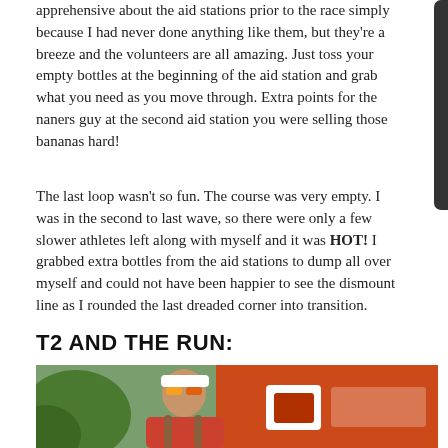apprehensive about the aid stations prior to the race simply because I had never done anything like them, but they're a breeze and the volunteers are all amazing. Just toss your empty bottles at the beginning of the aid station and grab what you need as you move through. Extra points for the naners guy at the second aid station you were selling those bananas hard!
The last loop wasn't so fun. The course was very empty. I was in the second to last wave, so there were only a few slower athletes left along with myself and it was HOT! I grabbed extra bottles from the aid stations to dump all over myself and could not have been happier to see the dismount line as I rounded the last dreaded corner into transition.
T2 AND THE RUN:
[Figure (photo): A woman wearing a white visor and colorful sunglasses, dressed in a triathlon outfit, smiling at the camera. Behind her is an orange tent/canopy with a logo and text. Green foliage visible in background.]